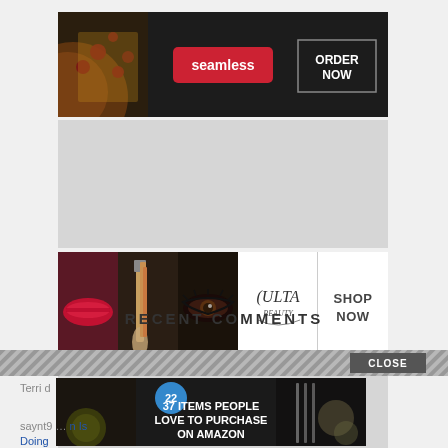[Figure (screenshot): Seamless food delivery advertisement banner with pizza image, seamless logo in red pill shape, and ORDER NOW button in outlined rectangle on dark background]
[Figure (screenshot): Gray advertisement placeholder area below seamless banner]
[Figure (screenshot): Ulta Beauty advertisement banner showing makeup images (lips, brush, eye), Ulta logo, and SHOP NOW button]
[Figure (screenshot): Gray advertisement placeholder area below Ulta banner]
RECENT COMMENTS
[Figure (screenshot): Hatched close bar with CLOSE button]
[Figure (screenshot): Amazon advertisement overlay: 22 badge, '37 ITEMS PEOPLE LOVE TO PURCHASE ON AMAZON' text on dark background with food/kitchen imagery, and X close button]
Terri d
saynt9